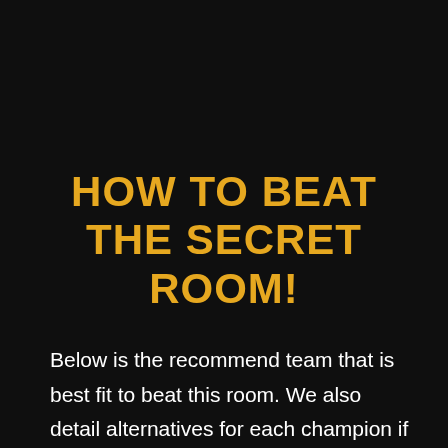HOW TO BEAT THE SECRET ROOM!
Below is the recommend team that is best fit to beat this room. We also detail alternatives for each champion if you do not have them. It is worth noting alternatives are fine replacements but will be less efficient i.e. potentially make